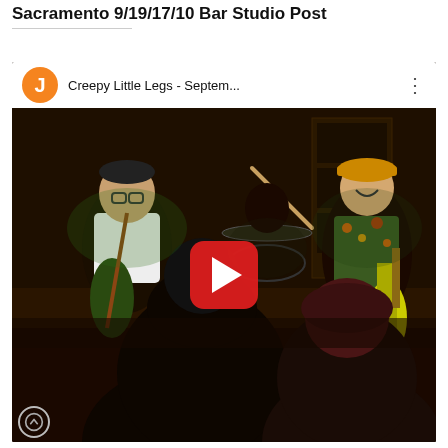Sacramento 9/19/17/10 Bar Studio Post
[Figure (screenshot): YouTube video thumbnail showing a band performing on stage. Video title: 'Creepy Little Legs - Septem...' with orange J avatar icon. A play button (red rounded square with white triangle) is centered on the video. The scene shows musicians performing, including a guitarist in a white t-shirt and another in a colorful shirt, with audience members in the foreground.]